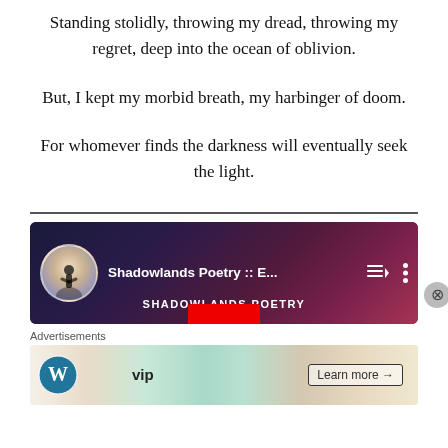Standing stolidly, throwing my dread, throwing my regret, deep into the ocean of oblivion.
But, I kept my morbid breath, my harbinger of doom.
For whomever finds the darkness will eventually seek the light.
[Figure (screenshot): YouTube playlist embed showing 'Shadowlands Poetry :: E...' with a dark purple/magenta gradient background, circular avatar with silhouette figure, playlist and more icons, 'SHADOWLANDS POETRY' text and red button at bottom]
Advertisements
[Figure (screenshot): WordPress VIP advertisement banner with colorful background showing tech logos and 'Learn more →' button]